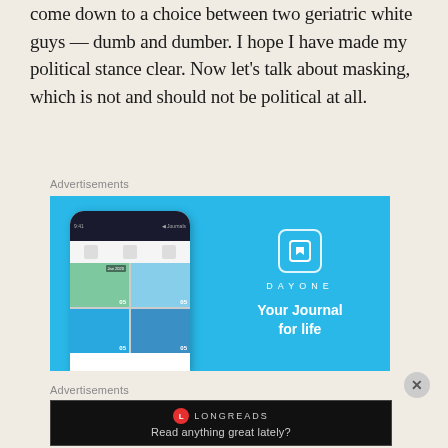come down to a choice between two geriatric white guys — dumb and dumber. I hope I have made my political stance clear. Now let's talk about masking, which is not and should not be political at all.
Advertisements
[Figure (photo): DayOne app advertisement banner with sky blue background showing a smartphone mockup with photo journal entries and DayOne logo with tagline 'Your Journal for life']
Advertisements
[Figure (screenshot): Longreads advertisement on black background with red circular logo and text 'Read anything great lately?']